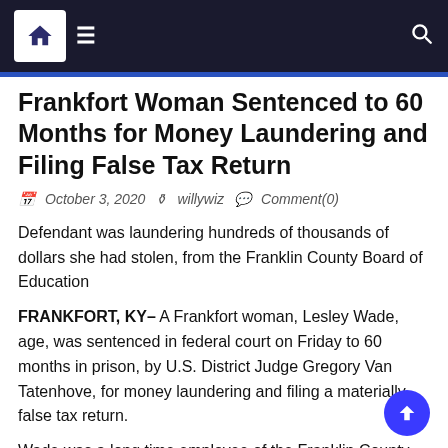Navigation bar with home, menu, and search icons
Frankfort Woman Sentenced to 60 Months for Money Laundering and Filing False Tax Return
October 3, 2020  willywiz  Comment(0)
Defendant was laundering hundreds of thousands of dollars she had stolen, from the Franklin County Board of Education
FRANKFORT, KY– A Frankfort woman, Lesley Wade, age, was sentenced in federal court on Friday to 60 months in prison, by U.S. District Judge Gregory Van Tatenhove, for money laundering and filing a materially false tax return.
Wade was a long time employee of the Franklin County Board of Education (FCBOE), most recently serving as the FCBOE's Financial Director. In Wade's guilty plea agreement, she admitted that, starting in February 2011 and continuing through about June 25, 2019, she wrote unauthorized checks of FCBOE money to herself, then falsified the necessary